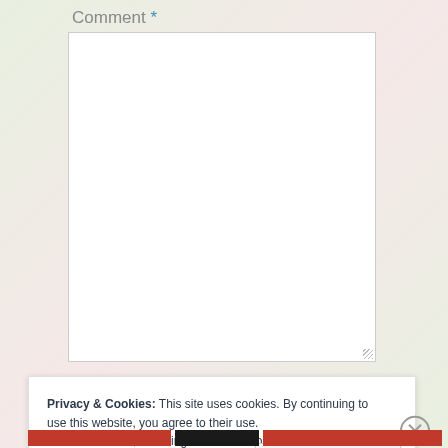Comment *
[Figure (screenshot): Empty white comment textarea input box with resize handle at bottom right]
Privacy & Cookies: This site uses cookies. By continuing to use this website, you agree to their use.
To find out more, including how to control cookies, see here: Cookie Policy
Close and accept